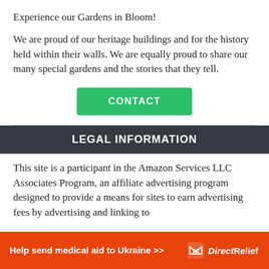Experience our Gardens in Bloom!
We are proud of our heritage buildings and for the history held within their walls. We are equally proud to share our many special gardens and the stories that they tell.
[Figure (other): Green CONTACT button]
LEGAL INFORMATION
This site is a participant in the Amazon Services LLC Associates Program, an affiliate advertising program designed to provide a means for sites to earn advertising fees by advertising and linking to
[Figure (infographic): Orange Direct Relief ad banner: Help send medical aid to Ukraine >> with Direct Relief logo]